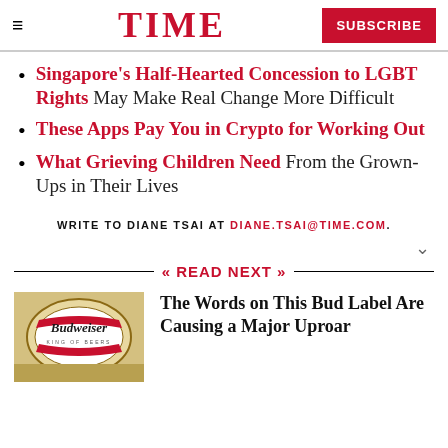TIME | SUBSCRIBE
Singapore's Half-Hearted Concession to LGBT Rights May Make Real Change More Difficult
These Apps Pay You in Crypto for Working Out
What Grieving Children Need From the Grown-Ups in Their Lives
WRITE TO DIANE TSAI AT DIANE.TSAI@TIME.COM.
READ NEXT
The Words on This Bud Label Are Causing a Major Uproar